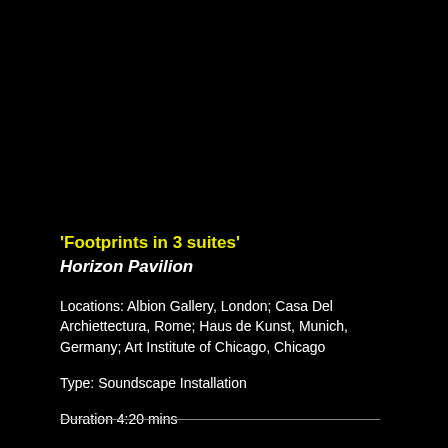'Footprints in 3 suites'
Horizon Pavilion
Locations: Albion Gallery, London; Casa Del Archiettectura, Rome; Haus de Kunst, Munich, Germany; Art Institute of Chicago, Chicago
Type: Soundscape Installation
Duration 4:20 mins